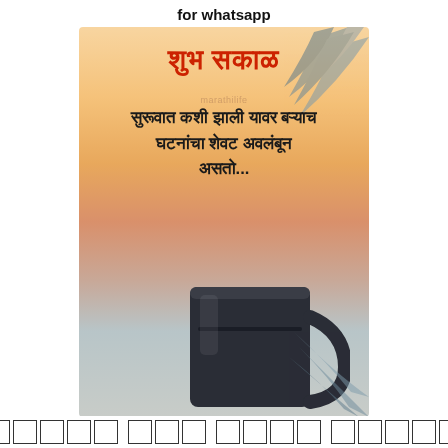for whatsapp
[Figure (photo): A greeting card image with warm sunset background, palm leaves, and a dark coffee mug at the bottom. Text in Marathi reads 'Shubh Sakal' (Good Morning) in red at the top, followed by a Marathi quote in dark bold text. Watermark 'marathilife' faintly visible.]
शुभ सकाळ सुरूवात कशी झाली यावर बऱ्याच घटनांचा शेवट अवलंबून असतो...
सुरूवात कशी झाली यावर बऱ्याच घटनांचा शेवट अवलंबून असतो...